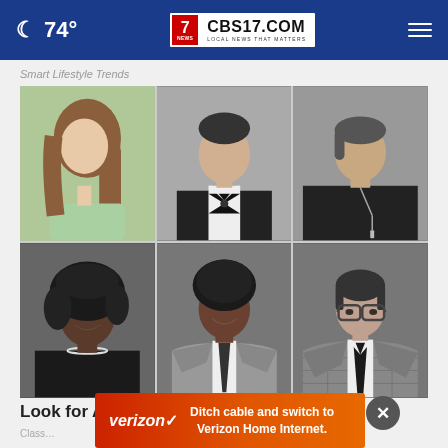74° CBS17.COM LOCAL NEWS THAT MATTERS
Smart Lifestyle Trends
[Figure (photo): Six yearbook-style portrait photos in a 3×2 grid. Top row: young woman with long hair in green sweater, young man in tuxedo with bow tie, person in dark sweater with necklace. Bottom row: Black woman smiling with stylish hair, young Black man in suit with tie, young man with glasses in plaid blazer with tie. Photos are black and white except the top-left which is in color.]
Look for Any High School Yearbook, It's Fr…
Class…
[Figure (infographic): Verizon advertisement banner: orange-red gradient background with white text 'Ditch cable and switch to Verizon Home Internet.' and Verizon checkmark logo in white on left.]